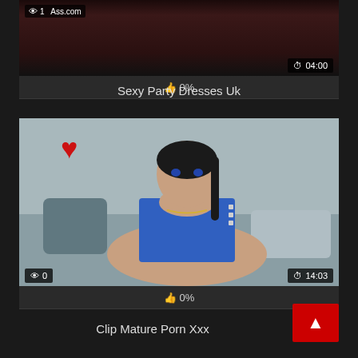[Figure (screenshot): Video thumbnail showing dark scene with overlay showing 1 view, Ass.com watermark, 04:00 duration, 0% rating bar]
Sexy Party Dresses Uk
[Figure (screenshot): Video thumbnail showing woman with dark hair in blue vest sitting on bed with heart graphic, 0 views, 14:03 duration, 0% rating bar]
Clip Mature Porn Xxx